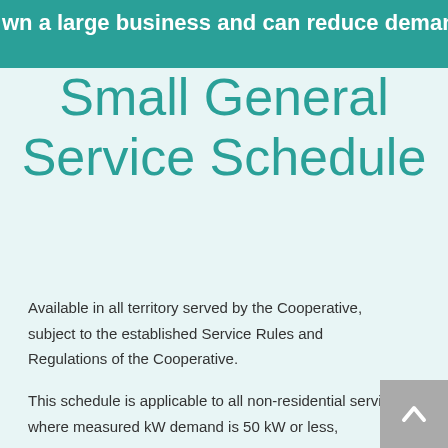wn a large business and can reduce demand upon reque
Small General Service Schedule
Available in all territory served by the Cooperative, subject to the established Service Rules and Regulations of the Cooperative.
This schedule is applicable to all non-residential service where measured kW demand is 50 kW or less,